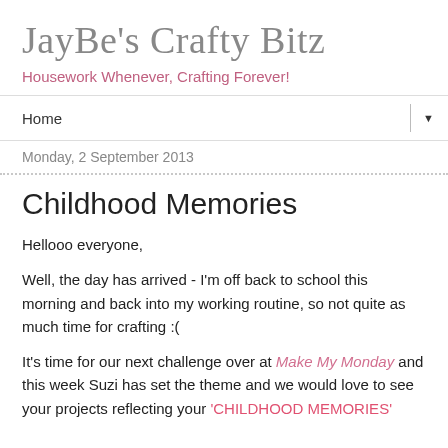JayBe's Crafty Bitz
Housework Whenever, Crafting Forever!
Home ▼
Monday, 2 September 2013
Childhood Memories
Hellooo everyone,
Well, the day has arrived - I'm off back to school this morning and back into my working routine, so not quite as much time for crafting :(
It's time for our next challenge over at Make My Monday and this week Suzi has set the theme and we would love to see your projects reflecting your 'CHILDHOOD MEMORIES'